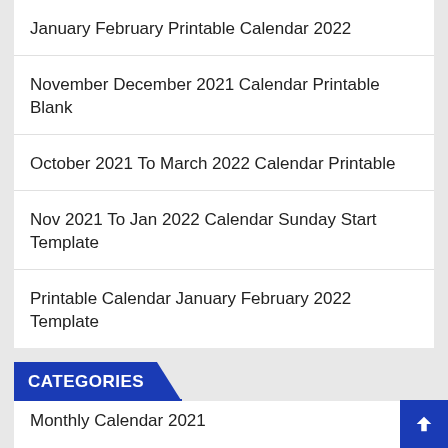January February Printable Calendar 2022
November December 2021 Calendar Printable Blank
October 2021 To March 2022 Calendar Printable
Nov 2021 To Jan 2022 Calendar Sunday Start Template
Printable Calendar January February 2022 Template
CATEGORIES
Monthly Calendar 2021